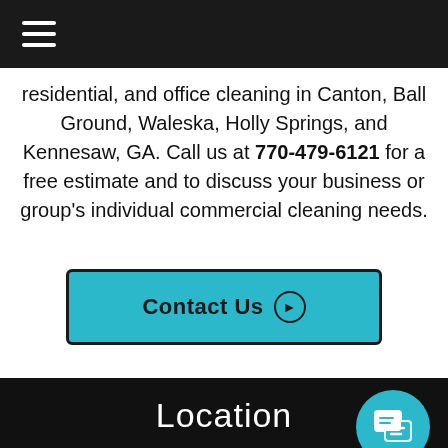Navigation bar with hamburger menu
residential, and office cleaning in Canton, Ball Ground, Waleska, Holly Springs, and Kennesaw, GA. Call us at 770-479-6121 for a free estimate and to discuss your business or group's individual commercial cleaning needs.
Contact Us
Location
Marie's Cleaning Service
Maid2clean4U
Waleska, GA 30183